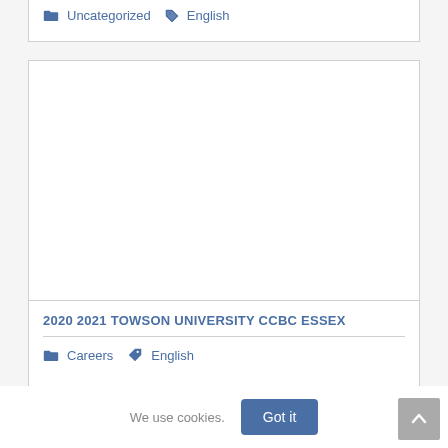Uncategorized  English
[Figure (other): Empty white content card area]
2020 2021 TOWSON UNIVERSITY CCBC ESSEX
Careers  English
We use cookies.
Got it